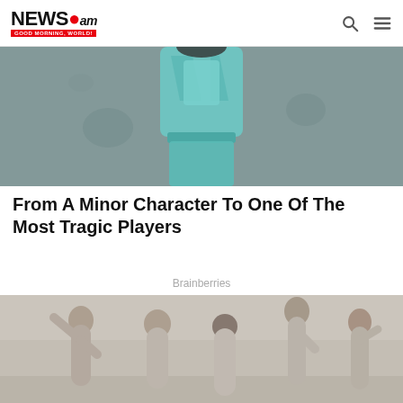NEWS.am — GOOD MORNING, WORLD!
[Figure (photo): Colorized vintage photo of a woman in a teal/mint green outfit (jacket and trousers) standing against a grey wall]
From A Minor Character To One Of The Most Tragic Players
Brainberries
[Figure (photo): Black and white vintage photo of five women in swimsuits, one with arm raised, posing together in a group]